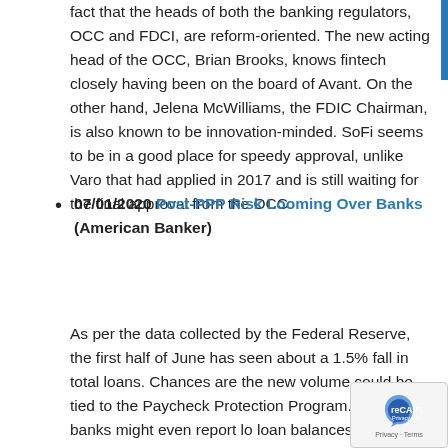fact that the heads of both the banking regulators, OCC and FDCI, are reform-oriented. The new acting head of the OCC, Brian Brooks, knows fintech closely having been on the board of Avant. On the other hand, Jelena McWilliams, the FDIC Chairman, is also known to be innovation-minded. SoFi seems to be in a good place for speedy approval, unlike Varo that had applied in 2017 and is still waiting for the final approval from the OCC.
07/01/2020 Post-PPP Risk Looming Over Banks (American Banker)
As per the data collected by the Federal Reserve, the first half of June has seen about a 1.5% fall in total loans. Chances are the new volume could be tied to the Paycheck Protection Program. Many banks might even report lo... loan balances despite the PPP originations. “It’s going... very difficult to develop new business,” said Jon Winick,